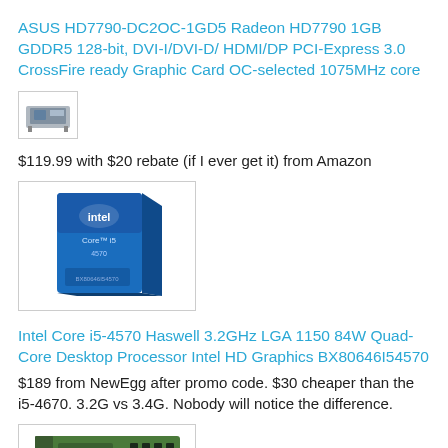ASUS HD7790-DC2OC-1GD5 Radeon HD7790 1GB GDDR5 128-bit, DVI-I/DVI-D/ HDMI/DP PCI-Express 3.0 CrossFire ready Graphic Card OC-selected 1075MHz core
[Figure (photo): Small placeholder image for ASUS HD7790 GPU product]
$119.99 with $20 rebate (if I ever get it) from Amazon
[Figure (photo): Intel Core i5-4570 boxed processor product image with blue Intel box]
Intel Core i5-4570 Haswell 3.2GHz LGA 1150 84W Quad-Core Desktop Processor Intel HD Graphics BX80646I54570
$189 from NewEgg after promo code. $30 cheaper than the i5-4670. 3.2G vs 3.4G. Nobody will notice the difference.
[Figure (photo): ASUS Z87-A motherboard product image showing green PCB with slots]
ASUS Z87-A LGA 1150 Intel Z87 HDMI SATA 6Gb/s USB 3.0 ATX Intel Motherboard
$119 from NewEgg after promo code. Best price for a Z87